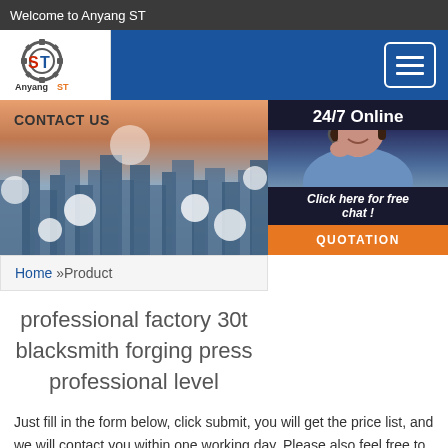Welcome to Anyang ST
[Figure (logo): Anyang ST gear logo with red ST letters]
[Figure (photo): Contact Us banner with city skyline background and light orbs; 24/7 Online customer service panel with woman wearing headset]
Home »Product
professional factory 30t blacksmith forging press professional level
Just fill in the form below, click submit, you will get the price list, and we will contact you within one working day. Please also feel free to contact us via email or phone. (*